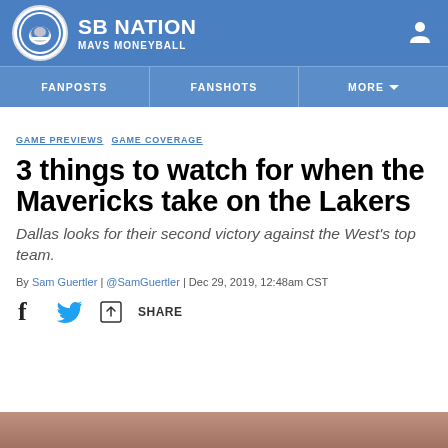SB NATION | MAVS MONEYBALL
FANPOSTS | FANSHOTS | MORE
GAME PREVIEWS  GAME COVERAGE
3 things to watch for when the Mavericks take on the Lakers
Dallas looks for their second victory against the West's top team.
By Sam Guertler | @SamGuertler | Dec 29, 2019, 12:48am CST
[Figure (other): Social share icons: Facebook, Twitter, and generic share button with SHARE label]
[Figure (photo): Partial photo visible at bottom of page]